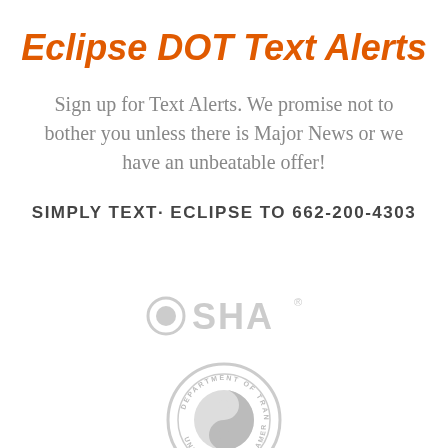Eclipse DOT Text Alerts
Sign up for Text Alerts. We promise not to bother you unless there is Major News or we have an unbeatable offer!
SIMPLY TEXT· ECLIPSE TO 662-200-4303
[Figure (logo): OSHA logo in light gray]
[Figure (logo): US Department of Transportation seal in light gray]